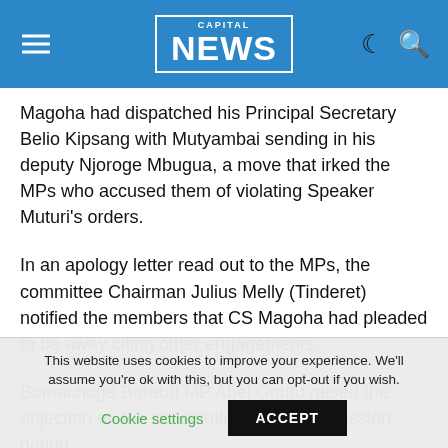CAPITAL NEWS
Magoha had dispatched his Principal Secretary Belio Kipsang with Mutyambai sending in his deputy Njoroge Mbugua, a move that irked the MPs who accused them of violating Speaker Muturi's orders.
In an apology letter read out to the MPs, the committee Chairman Julius Melly (Tinderet) notified the members that CS Magoha had pleaded to be away citing other engagements.
Bomachoge Borabu MP Abel Ogutu raised the objection on the constitutionality of the session noting
This website uses cookies to improve your experience. We'll assume you're ok with this, but you can opt-out if you wish. Cookie settings ACCEPT